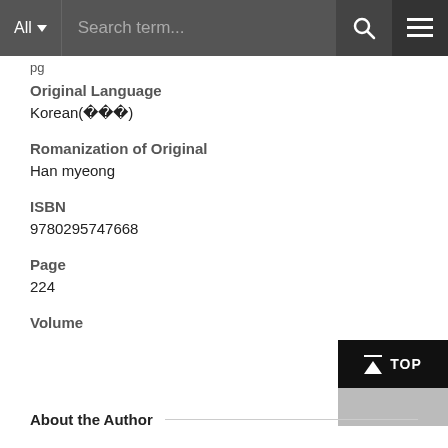[Figure (screenshot): Navigation bar with All dropdown, Search term input field, search icon, and hamburger menu icon on dark grey background]
pg
Original Language
Korean(한국어)
Romanization of Original
Han myeong
ISBN
9780295747668
Page
224
Volume
About the Author